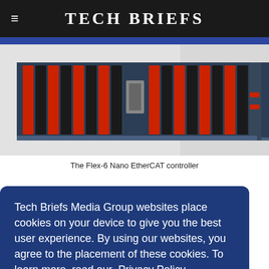Tech Briefs
[Figure (photo): The Flex-6 Nano EtherCAT controller - a rack-mounted industrial motion controller with red and black connector modules]
The Flex-6 Nano EtherCAT controller
Tech Briefs Media Group websites place cookies on your device to give you the best user experience. By using our websites, you agree to the placement of these cookies. To learn more, read our Privacy Policy.
Nano 64 axes a 1- . The er g inputs Features include an Ethernet port for communication integration with